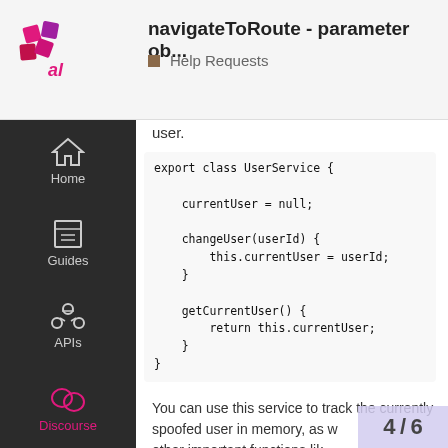navigateToRoute - parameter ob... | Help Requests
user.
[Figure (screenshot): Navigation sidebar with icons for Home, Guides, APIs, Discourse (active, pink), Blog, Support on dark background]
[Figure (screenshot): Code block showing: export class UserService { currentUser = null; changeUser(userId) { this.currentUser = userId; } getCurrentUser() { return this.currentUser; } }]
You can use this service to track the currently spoofed user in memory, as w other important functions lik
4 / 6